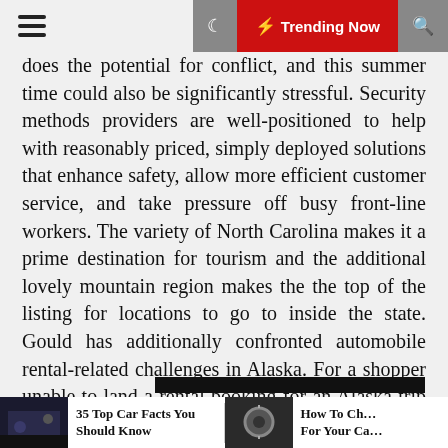☰  🌙  ⚡ Trending Now  🔍
does the potential for conflict, and this summer time could also be significantly stressful. Security methods providers are well-positioned to help with reasonably priced, simply deployed solutions that enhance safety, allow more efficient customer service, and take pressure off busy front-line workers. The variety of North Carolina makes it a prime destination for tourism and the additional lovely mountain region makes the the top of the listing for locations to go to inside the state. Gould has additionally confronted automobile rental-related challenges in Alaska. For a shopper unable to land a rental booking for an Alaska trip this year, he lately attempted to find creative workarounds, together with substituting rail travel for one journey leg and booking a shared tour and private chauffeur for others.
[Figure (other): Black redacted bar]
[Figure (photo): Card: 35 Top Car Facts You Should Know]
[Figure (photo): Card: How To Ch... For Your Ca...]